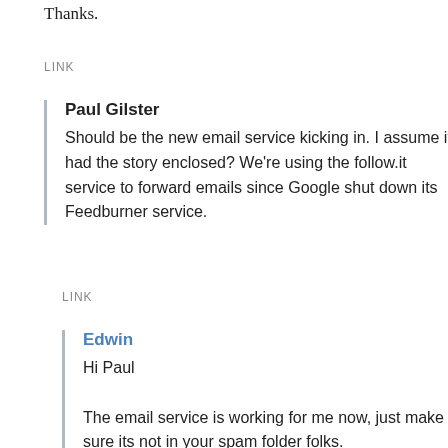Thanks.
LINK
Paul Gilster
Should be the new email service kicking in. I assume it had the story enclosed? We're using the follow.it service to forward emails since Google shut down its Feedburner service.
LINK
Edwin
Hi Paul
The email service is working for me now, just make sure its not in your spam folder folks.